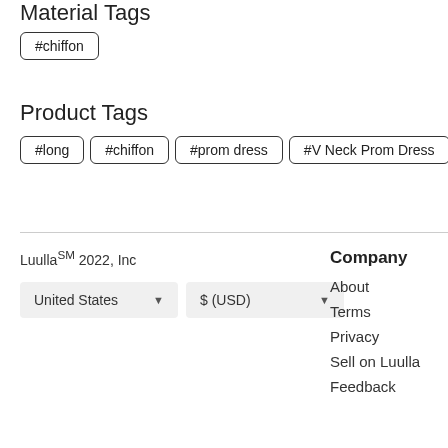Material Tags
#chiffon
Product Tags
#long
#chiffon
#prom dress
#V Neck Prom Dress
#A
Luulla℠ 2022, Inc
United States
$ (USD)
Company
About
Terms
Privacy
Sell on Luulla
Feedback